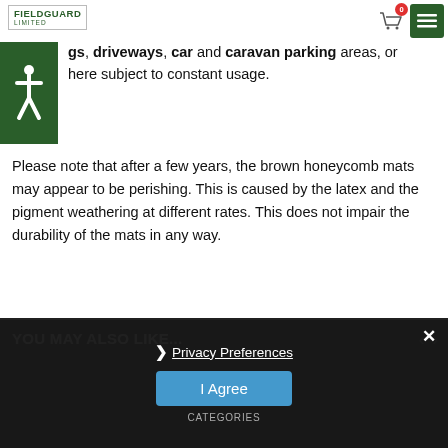FIELDGUARD LIMITED
due to their size and weight, are ideal in playgrounds, pathways, heavily used paths, child play areas, buildings, driveways, car and caravan parking areas, or anywhere subject to constant usage.
Please note that after a few years, the brown honeycomb mats may appear to be perishing. This is caused by the the latex and the pigment weathering at different rates. This does not impair the durability of the mats in any way.
Note: These mats are supplied with free pins and ties.
ADDITIONAL INFORMATION
YOU MAY ALSO LIKE...
Privacy Preferences
I Agree
CATEGORIES